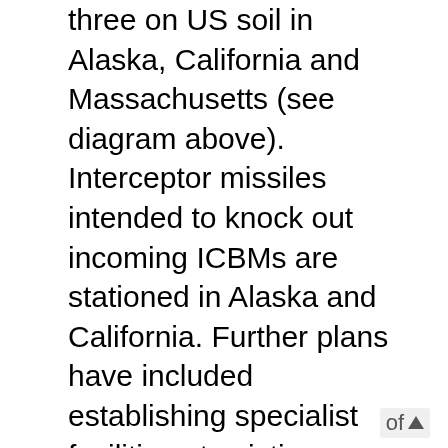three on US soil in Alaska, California and Massachusetts (see diagram above). Interceptor missiles intended to knock out incoming ICBMs are stationed in Alaska and California. Further plans have included establishing specialist facilities at existing bases in places such as Australia and the UK (at Menwith Hill in North Yorkshire) to receive and relay tracking and targeting information from space-based infrared tracking satellites and the stationing of a number of interceptor missiles in Poland and a new powerful radar base in the Czech Republic. These moves increased tension with Russia and in 2007 President Vladimir Putin both threatened to withdraw Russia from the INF Treaty – a major cold war arms treaty restricting the stationing of intermediate-range nuclear missiles in Europe – and suspend Russia from the Treaty on Conventional Forces in Europe. Russia also became very concerned about the positioning of US interceptor missiles in Poland.
of